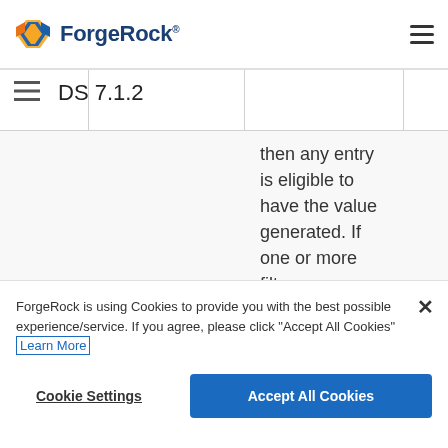ForgeRock
DS 7.1.2
then any entry is eligible to have the value generated. If one or more filters are specified, then only entries that match at least one of those
ForgeRock is using Cookies to provide you with the best possible experience/service. If you agree, please click "Accept All Cookies" Learn More
Cookie Settings
Accept All Cookies